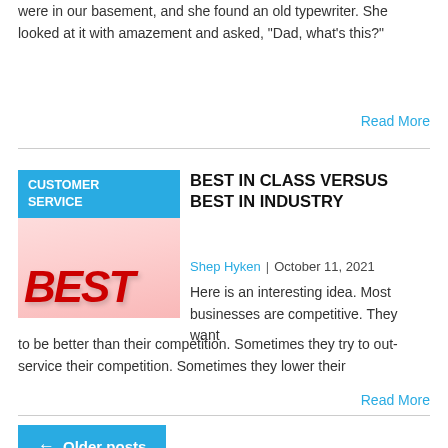were in our basement, and she found an old typewriter. She looked at it with amazement and asked, “Dad, what’s this?”
Read More
BEST IN CLASS VERSUS BEST IN INDUSTRY
Shep Hyken | October 11, 2021
Here is an interesting idea. Most businesses are competitive. They want to be better than their competition. Sometimes they try to out-service their competition. Sometimes they lower their
Read More
← Older posts